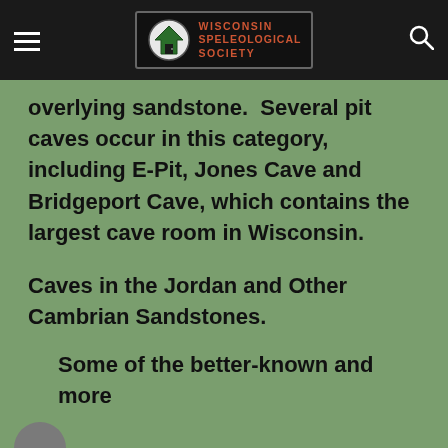Wisconsin Speleological Society
overlying sandstone.  Several pit caves occur in this category, including E-Pit, Jones Cave and Bridgeport Cave, which contains the largest cave room in Wisconsin.
Caves in the Jordan and Other Cambrian Sandstones.
Some of the better-known and more